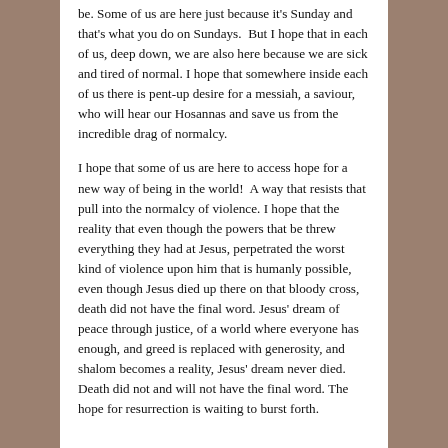be. Some of us are here just because it's Sunday and that's what you do on Sundays.  But I hope that in each of us, deep down, we are also here because we are sick and tired of normal. I hope that somewhere inside each of us there is pent-up desire for a messiah, a saviour, who will hear our Hosannas and save us from the incredible drag of normalcy.
I hope that some of us are here to access hope for a new way of being in the world!  A way that resists that pull into the normalcy of violence. I hope that the reality that even though the powers that be threw everything they had at Jesus, perpetrated the worst kind of violence upon him that is humanly possible, even though Jesus died up there on that bloody cross, death did not have the final word. Jesus' dream of peace through justice, of a world where everyone has enough, and greed is replaced with generosity, and shalom becomes a reality, Jesus' dream never died. Death did not and will not have the final word. The hope for resurrection is waiting to burst forth.